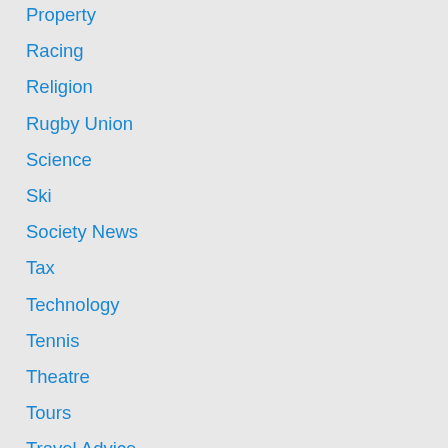Property
Racing
Religion
Rugby Union
Science
Ski
Society News
Tax
Technology
Tennis
Theatre
Tours
Travel Advice
Travel Destinations
Travel Luxury
Travel Offers
Travel Shows
U.S. Politics
UK News